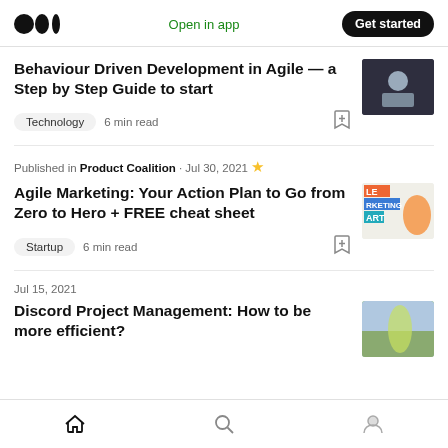Medium logo | Open in app | Get started
Behaviour Driven Development in Agile — a Step by Step Guide to start
Technology · 6 min read
Published in Product Coalition · Jul 30, 2021
Agile Marketing: Your Action Plan to Go from Zero to Hero + FREE cheat sheet
Startup · 6 min read
Jul 15, 2021
Discord Project Management: How to be more efficient?
Home | Search | Profile